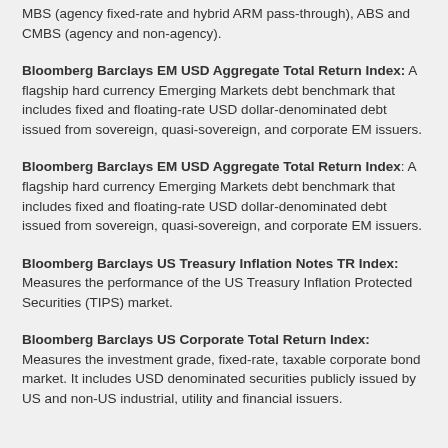MBS (agency fixed-rate and hybrid ARM pass-through), ABS and CMBS (agency and non-agency).
Bloomberg Barclays EM USD Aggregate Total Return Index: A flagship hard currency Emerging Markets debt benchmark that includes fixed and floating-rate USD dollar-denominated debt issued from sovereign, quasi-sovereign, and corporate EM issuers.
Bloomberg Barclays EM USD Aggregate Total Return Index: A flagship hard currency Emerging Markets debt benchmark that includes fixed and floating-rate USD dollar-denominated debt issued from sovereign, quasi-sovereign, and corporate EM issuers.
Bloomberg Barclays US Treasury Inflation Notes TR Index: Measures the performance of the US Treasury Inflation Protected Securities (TIPS) market.
Bloomberg Barclays US Corporate Total Return Index: Measures the investment grade, fixed-rate, taxable corporate bond market. It includes USD denominated securities publicly issued by US and non-US industrial, utility and financial issuers.